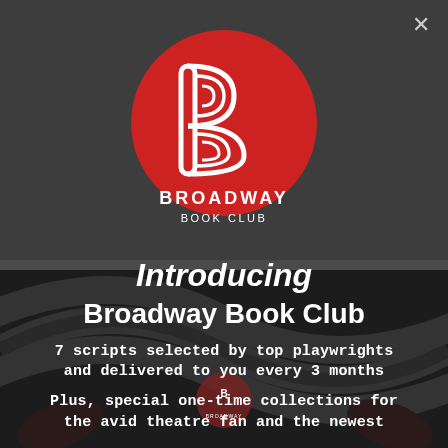[Figure (logo): Broadway Book Club logo: red circle with white stylized letter B and text BROADWAY BOOK CLUB below]
Introducing
Broadway Book Club
7 scripts selected by top playwrights and delivered to you every 3 months
Plus, special one-time collections for the avid theatre fan and the newest